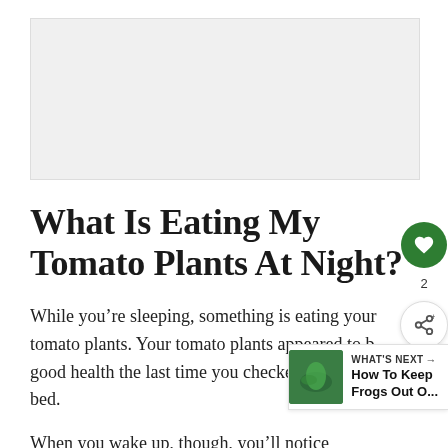[Figure (other): Gray advertisement placeholder box at top of page]
What Is Eating My Tomato Plants At Night?
While you’re sleeping, something is eating your tomato plants. Your tomato plants appeared to be in good health the last time you checked before going to bed.
When you wake up, though, you’ll notice missing leaves, barren branches, naked stems, or even